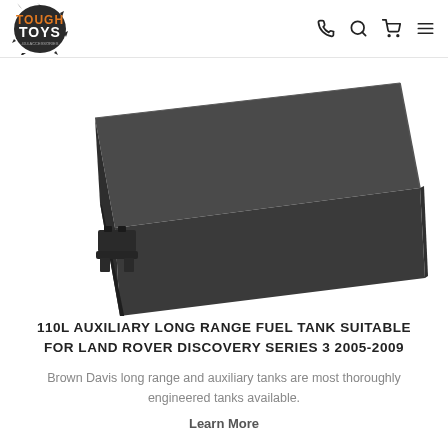[Figure (logo): Tough Toys logo with orange and brown text on a splatter background]
[Figure (photo): Black auxiliary long range fuel tank product image, shown from a slightly elevated angle against a white background, with mounting bracket visible on the lower left side]
110L AUXILIARY LONG RANGE FUEL TANK SUITABLE FOR LAND ROVER DISCOVERY SERIES 3 2005-2009
Brown Davis long range and auxiliary tanks are most thoroughly engineered tanks available.
Learn More